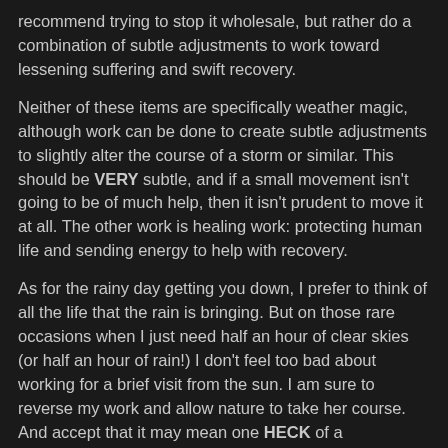recommend trying to stop it wholesale, but rather do a combination of subtle adjustments to work toward lessening suffering and swift recovery.
Neither of these items are specifically weather magic, although work can be done to create subtle adjustments to slightly alter the course of a storm or similar. This should be VERY subtle, and if a small movement isn't going to be of much help, then it isn't prudent to move it at all. The other work is healing work: protecting human life and sending energy to help with recovery.
As for the rainy day getting you down, I prefer to think of all the life that the rain is bringing. But on those rare occasions when I just need half an hour of clear skies (or half an hour of rain!) I don't feel too bad about working for a brief visit from the sun. I am sure to reverse my work and allow nature to take her course. And accept that it may mean one HECK of a thunderstorm afterwards!